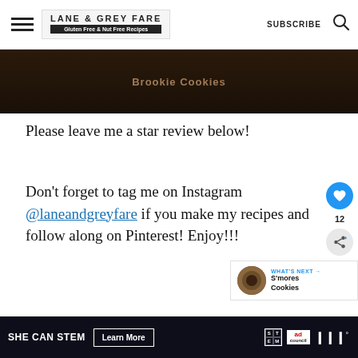LANE & GREY FARE | Gluten Free & Nut Free Recipes | SUBSCRIBE
[Figure (photo): Dark hero image of brookie cookies with overlay text 'Brookie Cookies']
Please leave me a star review below!
Don't forget to tag me on Instagram @laneandgreyfare if you make my recipes and follow along on Pinterest! Enjoy!!!
[Figure (infographic): What's Next panel showing S'mores Cookies thumbnail with blue arrow label]
SHE CAN STEM   Learn More   [STEM logo] [Ad Council logo] [W logo]